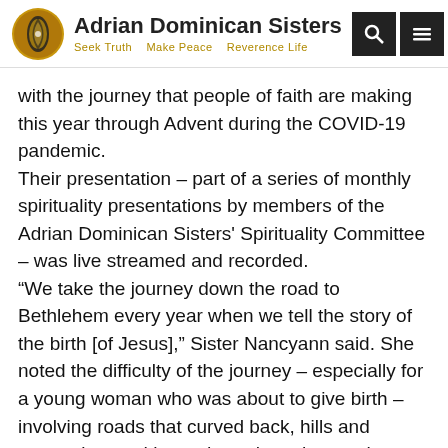Adrian Dominican Sisters — Seek Truth   Make Peace   Reverence Life
with the journey that people of faith are making this year through Advent during the COVID-19 pandemic.
Their presentation – part of a series of monthly spirituality presentations by members of the Adrian Dominican Sisters' Spirituality Committee – was live streamed and recorded.
“We take the journey down the road to Bethlehem every year when we tell the story of the birth [of Jesus],” Sister Nancyann said. She noted the difficulty of the journey – especially for a young woman who was about to give birth – involving roads that curved back, hills and mountains, and hazards such as the rough terrain, wild animals, and bandits.